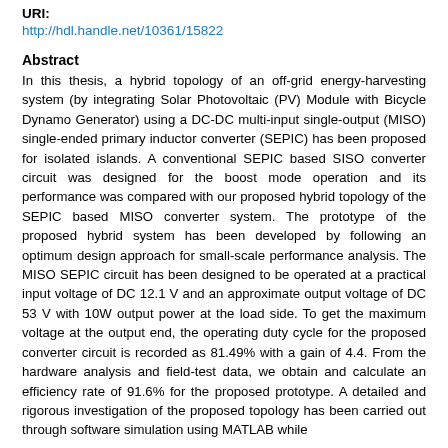URI:
http://hdl.handle.net/10361/15822
Abstract
In this thesis, a hybrid topology of an off-grid energy-harvesting system (by integrating Solar Photovoltaic (PV) Module with Bicycle Dynamo Generator) using a DC-DC multi-input single-output (MISO) single-ended primary inductor converter (SEPIC) has been proposed for isolated islands. A conventional SEPIC based SISO converter circuit was designed for the boost mode operation and its performance was compared with our proposed hybrid topology of the SEPIC based MISO converter system. The prototype of the proposed hybrid system has been developed by following an optimum design approach for small-scale performance analysis. The MISO SEPIC circuit has been designed to be operated at a practical input voltage of DC 12.1 V and an approximate output voltage of DC 53 V with 10W output power at the load side. To get the maximum voltage at the output end, the operating duty cycle for the proposed converter circuit is recorded as 81.49% with a gain of 4.4. From the hardware analysis and field-test data, we obtain and calculate an efficiency rate of 91.6% for the proposed prototype. A detailed and rigorous investigation of the proposed topology has been carried out through software simulation using MATLAB while